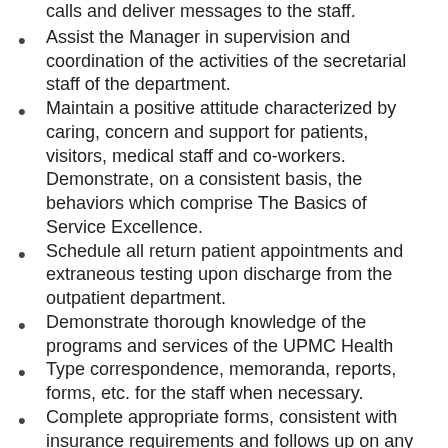calls and deliver messages to the staff.
Assist the Manager in supervision and coordination of the activities of the secretarial staff of the department.
Maintain a positive attitude characterized by caring, concern and support for patients, visitors, medical staff and co-workers. Demonstrate, on a consistent basis, the behaviors which comprise The Basics of Service Excellence.
Schedule all return patient appointments and extraneous testing upon discharge from the outpatient department.
Demonstrate thorough knowledge of the programs and services of the UPMC Health
Type correspondence, memoranda, reports, forms, etc. for the staff when necessary.
Complete appropriate forms, consistent with insurance requirements and follows up on any